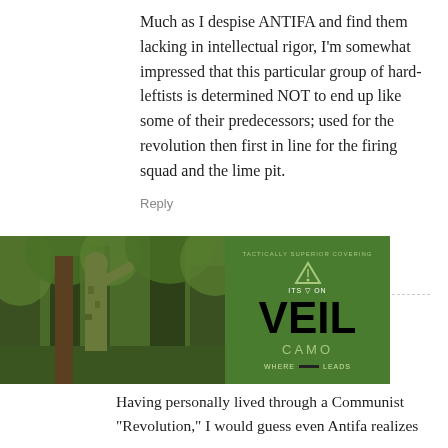Much as I despise ANTIFA and find them lacking in intellectual rigor, I'm somewhat impressed that this particular group of hard-leftists is determined NOT to end up like some of their predecessors; used for the revolution then first in line for the firing squad and the lime pit.
Reply
Hannibal and the Elephants
December 28, 2019 At 21:36
Having personally lived through a Communist “Revolution,” I would guess even Antifa realizes
[Figure (photo): Person in camouflage clothing in a forest setting]
[Figure (other): Advertisement for VEIL CAMO brand on green background]
y, Che others should d have been me of their